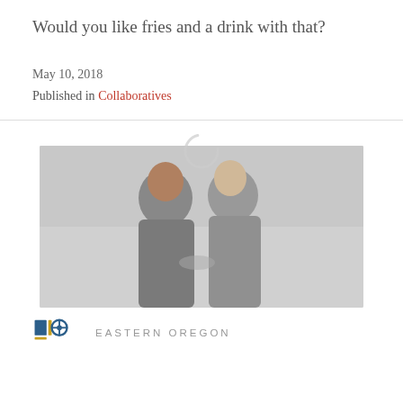Would you like fries and a drink with that?
May 10, 2018
Published in Collaboratives
[Figure (photo): Two men in suits looking at a device together, with an Eastern Oregon University logo visible below]
EASTERN OREGON